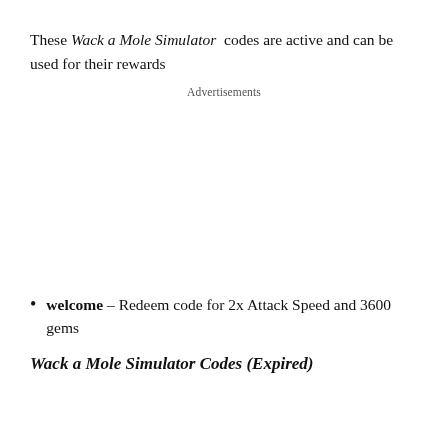These Wack a Mole Simulator codes are active and can be used for their rewards
Advertisements
welcome – Redeem code for 2x Attack Speed and 3600 gems
Wack a Mole Simulator Codes (Expired)